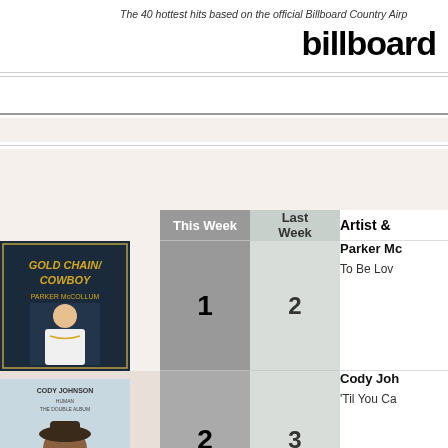The 40 hottest hits based on the official Billboard Country Airpl
billboard
|  | This Week | Last Week | Artist & |
| --- | --- | --- | --- |
| [Gold Chain Cowboy album cover] | 1 | 2 | Parker Mc
To Be Lov |
| [Cody Johnson album cover] | 2 | 3 | Cody Joh
'Til You Ca |